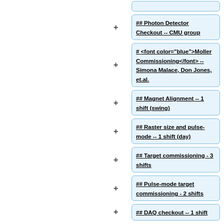## Photon Detector Checkout -- CMU group
# <font color="blue">Moller Commissioning</font> -- Simona Malace, Don Jones, et.al.
## Magnet Alignment -- 1 shift (swing)
## Raster size and pulse-mode -- 1 shift (day)
## Target commissioning - 3 shifts
## Pulse-mode target commissioning - 2 shifts
## DAQ checkout -- 1 shift